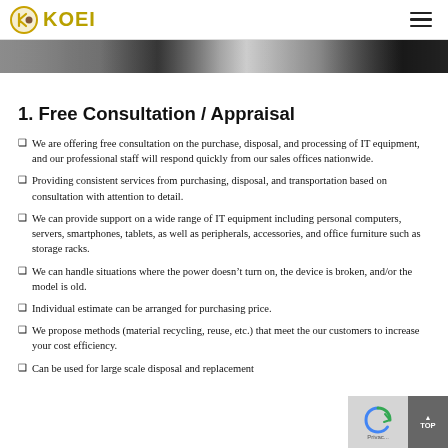KOEI
[Figure (photo): Hero banner image strip showing office/IT equipment environment in dark tones]
1. Free Consultation / Appraisal
We are offering free consultation on the purchase, disposal, and processing of IT equipment, and our professional staff will respond quickly from our sales offices nationwide.
Providing consistent services from purchasing, disposal, and transportation based on consultation with attention to detail.
We can provide support on a wide range of IT equipment including personal computers, servers, smartphones, tablets, as well as peripherals, accessories, and office furniture such as storage racks.
We can handle situations where the power doesn't turn on, the device is broken, and/or the model is old.
Individual estimate can be arranged for purchasing price.
We propose methods (material recycling, reuse, etc.) that meet the our customers to increase your cost efficiency.
Can be used for large scale disposal and replacement